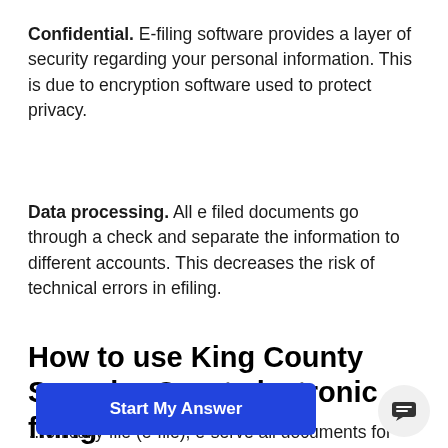Confidential. E-filing software provides a layer of security regarding your personal information. This is due to encryption software used to protect privacy.
Data processing. All e filed documents go through a check and separate the information to different accounts. This decreases the risk of technical errors in efiling.
How to use King County Superior Court electronic filing
…onically file (e-file), e-serve all documents for debt collection cases.